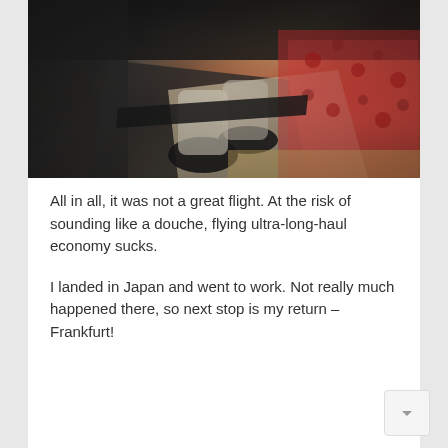[Figure (photo): Photo taken inside an airplane cabin showing passenger legs/feet in black shoes, reclining seat, and a red floral patterned blanket or fabric visible on the right side. Dark cabin interior with some ambient lighting.]
All in all, it was not a great flight. At the risk of sounding like a douche, flying ultra-long-haul economy sucks.
I landed in Japan and went to work. Not really much happened there, so next stop is my return – Frankfurt!